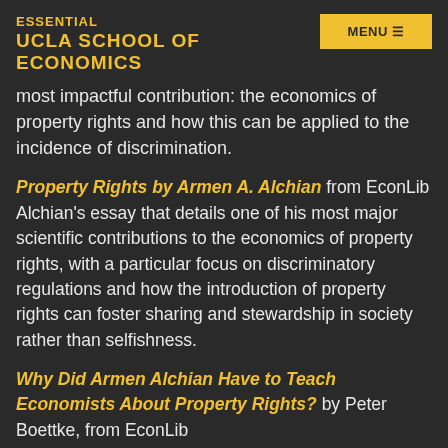ESSENTIAL UCLA SCHOOL OF ECONOMICS
most impactful contribution: the economics of property rights and how this can be applied to the incidence of discrimination.
Property Rights by Armen A. Alchian from EconLib Alchian's essay that details one of his most major scientific contributions to the economics of property rights, with a particular focus on discriminatory regulations and how the introduction of property rights can foster sharing and stewardship in society rather than selfishness.
Why Did Armen Alchian Have to Teach Economists About Property Rights? by Peter Boettke, from EconLib